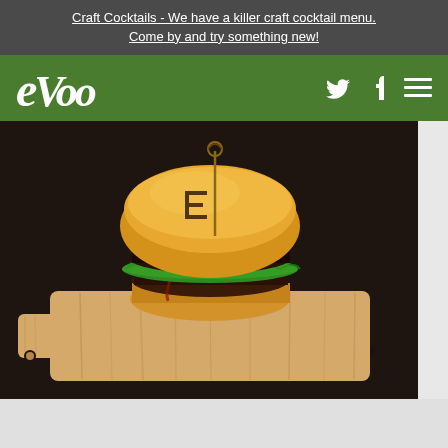Craft Cocktails - We have a killer craft cocktail menu. Come by and try something new!
[Figure (logo): EVOO restaurant logo in white italic text on green background, with Twitter bird icon, Facebook f icon, and hamburger menu icon]
[Figure (photo): A gourmet mini burger on a wooden cutting board. The burger has a branded bun with a logo seared on top, lettuce, and a meat patty, served on a light wood paddle board placed on a dark surface.]